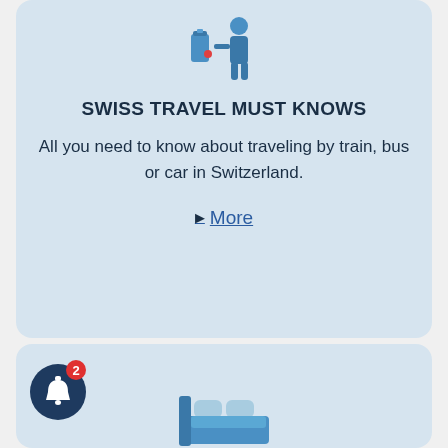[Figure (illustration): Blue icon of traveler with luggage]
SWISS TRAVEL MUST KNOWS
All you need to know about traveling by train, bus or car in Switzerland.
▶ More
[Figure (illustration): Bell notification icon with red badge showing 2, and a bed/accommodation icon below]